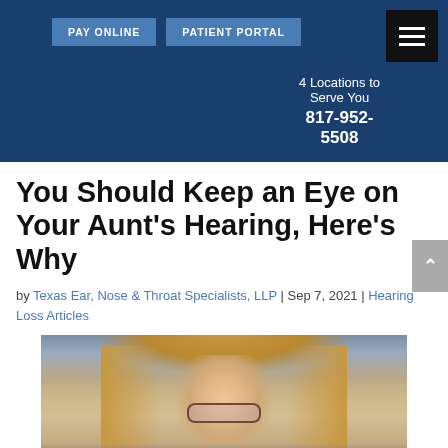PAY ONLINE | PATIENT PORTAL | 4 Locations to Serve You | 817-952-5508
You Should Keep an Eye on Your Aunt's Hearing, Here's Why
by Texas Ear, Nose & Throat Specialists, LLP | Sep 7, 2021 | Hearing Loss Articles
[Figure (photo): Photo of an older woman with blonde hair and glasses, smiling, indoors]